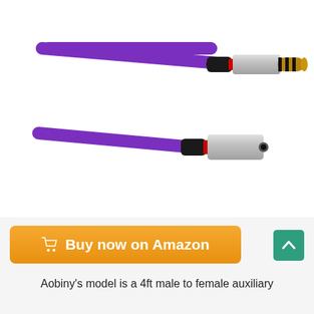[Figure (photo): Product photo of a purple 3.5mm male to female auxiliary cable. Shows two connectors with silver and black housing, red accent rings, and gold-tipped male plug with black isolation rings.]
[Figure (other): Orange rounded-rectangle button with white text 'Buy now on Amazon' and a shopping cart icon. A teal square scroll-to-top button with an upward chevron is positioned to the right.]
Aobiny's model is a 4ft male to female auxiliary